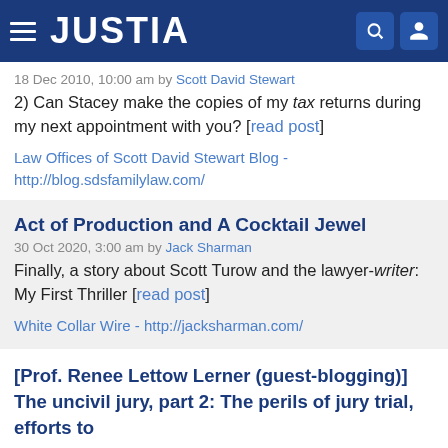JUSTIA
18 Dec 2010, 10:00 am by Scott David Stewart
2) Can Stacey make the copies of my tax returns during my next appointment with you? [read post]
Law Offices of Scott David Stewart Blog - http://blog.sdsfamilylaw.com/
Act of Production and A Cocktail Jewel
30 Oct 2020, 3:00 am by Jack Sharman
Finally, a story about Scott Turow and the lawyer-writer: My First Thriller [read post]
White Collar Wire - http://jacksharman.com/
[Prof. Renee Lettow Lerner (guest-blogging)] The uncivil jury, part 2: The perils of jury trial, efforts to